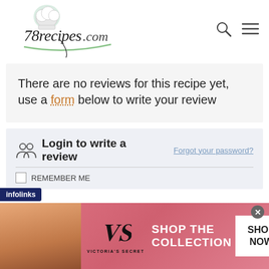[Figure (logo): 78recipes.com logo with chef hat and decorative script text on green swoosh]
There are no reviews for this recipe yet, use a form below to write your review
Login to write a review   Forgot your password?
REMEMBER ME
[Figure (advertisement): Victoria's Secret Shop The Collection advertisement banner with model]
infolinks